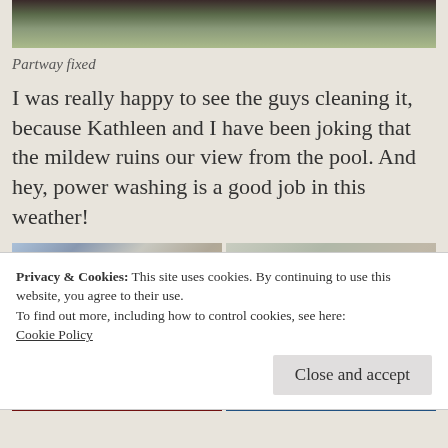[Figure (photo): Top cropped photo showing grass and partial view of a person or object]
Partway fixed
I was really happy to see the guys cleaning it, because Kathleen and I have been joking that the mildew ruins our view from the pool. And hey, power washing is a good job in this weather!
[Figure (photo): Two side-by-side photos of a metal building/barn exterior showing mildew or weathering, before and after cleaning]
[Figure (photo): Two side-by-side photos at bottom, partial view showing red and blue structures]
Privacy & Cookies: This site uses cookies. By continuing to use this website, you agree to their use.
To find out more, including how to control cookies, see here:
Cookie Policy